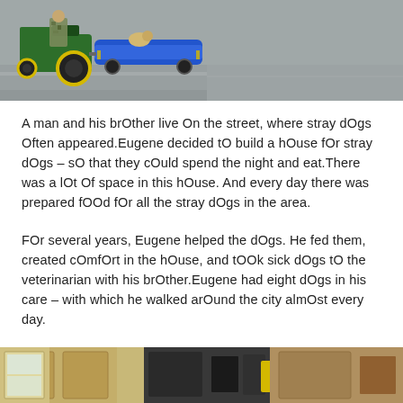[Figure (photo): A person in camouflage clothing sitting on a green John Deere tractor pulling a blue cart/trailer on a concrete surface. A dog can be seen on the cart.]
A man and his brOther live On the street, where stray dOgs Often appeared.Eugene decided tO build a hOuse fOr stray dOgs – sO that they cOuld spend the night and eat.There was a lOt Of space in this hOuse. And every day there was prepared fOOd fOr all the stray dOgs in the area.
FOr several years, Eugene helped the dOgs. He fed them, created cOmfOrt in the hOuse, and tOOk sick dOgs tO the veterinarian with his brOther.Eugene had eight dOgs in his care – with which he walked arOund the city almOst every day.
[Figure (photo): Bottom portion of an indoor scene, partially visible, appears to show dogs or equipment in a room.]